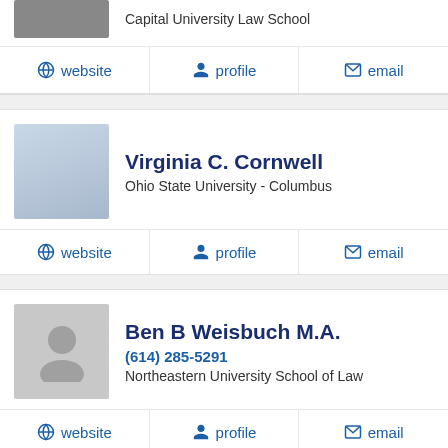Capital University Law School
website | profile | email
Virginia C. Cornwell
Ohio State University - Columbus
website | profile | email
Ben B Weisbuch M.A.
(614) 285-5291
Northeastern University School of Law
website | profile | email